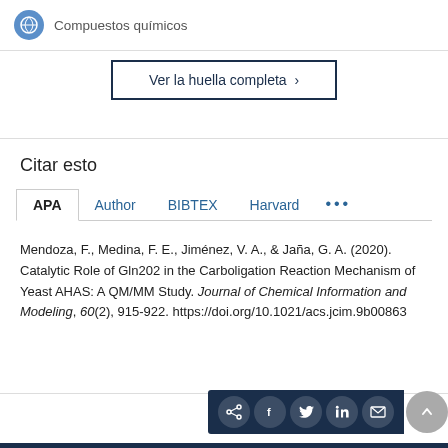Compuestos químicos
Ver la huella completa >
Citar esto
APA | Author | BIBTEX | Harvard | ...
Mendoza, F., Medina, F. E., Jiménez, V. A., & Jaña, G. A. (2020). Catalytic Role of Gln202 in the Carboligation Reaction Mechanism of Yeast AHAS: A QM/MM Study. Journal of Chemical Information and Modeling, 60(2), 915-922. https://doi.org/10.1021/acs.jcim.9b00863